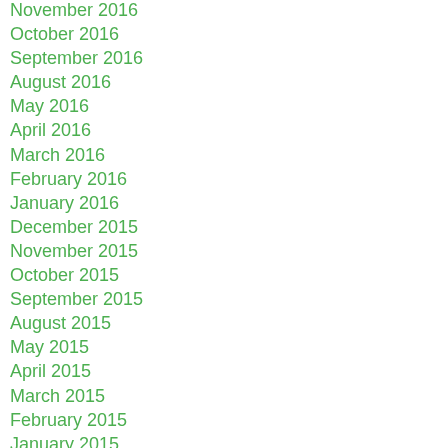November 2016
October 2016
September 2016
August 2016
May 2016
April 2016
March 2016
February 2016
January 2016
December 2015
November 2015
October 2015
September 2015
August 2015
May 2015
April 2015
March 2015
February 2015
January 2015
December 2014
November 2014